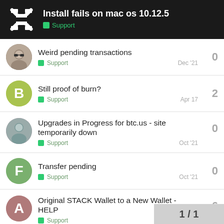Install fails on mac os 10.12.5 — Support
Weird pending transactions | Support | Dec '21 | 0 replies
Still proof of burn? | Support | Apr 17 | 2 replies
Upgrades in Progress for btc.us - site temporarily down | Support | Oct '21 | 0 replies
Transfer pending | Support | Oct '21 | 0 replies
Original STACK Wallet to a New Wallet - HELP | Support | 6 replies
1 / 1